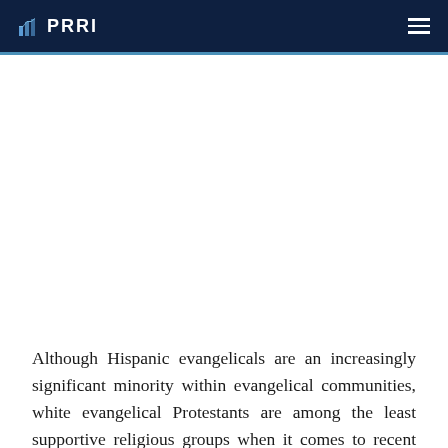PRRI
Although Hispanic evangelicals are an increasingly significant minority within evangelical communities, white evangelical Protestants are among the least supportive religious groups when it comes to recent policies related to immigration reform. A majority (55%) of white evangelical